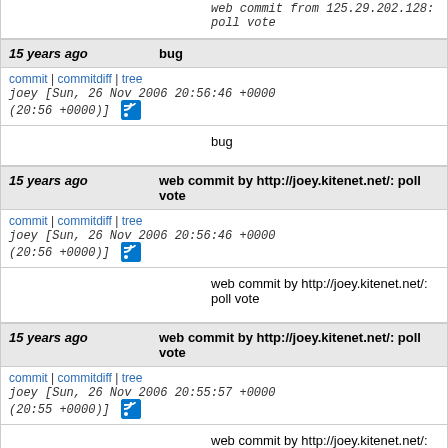web commit from 125.29.202.128: poll vote
15 years ago  bug
commit | commitdiff | tree
joey [Sun, 26 Nov 2006 20:56:46 +0000 (20:56 +0000)]
bug
15 years ago  web commit by http://joey.kitenet.net/: poll vote
commit | commitdiff | tree
joey [Sun, 26 Nov 2006 20:56:46 +0000 (20:56 +0000)]
web commit by http://joey.kitenet.net/: poll vote
15 years ago  web commit by http://joey.kitenet.net/: poll vote
commit | commitdiff | tree
joey [Sun, 26 Nov 2006 20:55:57 +0000 (20:55 +0000)]
web commit by http://joey.kitenet.net/: poll vote
15 years ago  oops
commit | commitdiff | tree
joey [Sun, 26 Nov 2006 20:53:29 +0000